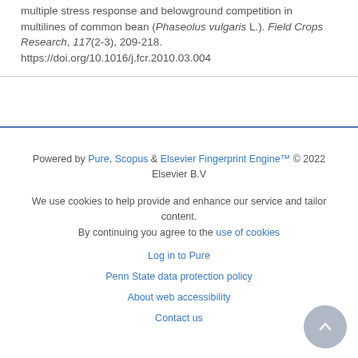multiple stress response and belowground competition in multilines of common bean (Phaseolus vulgaris L.). Field Crops Research, 117(2-3), 209-218. https://doi.org/10.1016/j.fcr.2010.03.004
Powered by Pure, Scopus & Elsevier Fingerprint Engine™ © 2022 Elsevier B.V
We use cookies to help provide and enhance our service and tailor content. By continuing you agree to the use of cookies
Log in to Pure
Penn State data protection policy
About web accessibility
Contact us